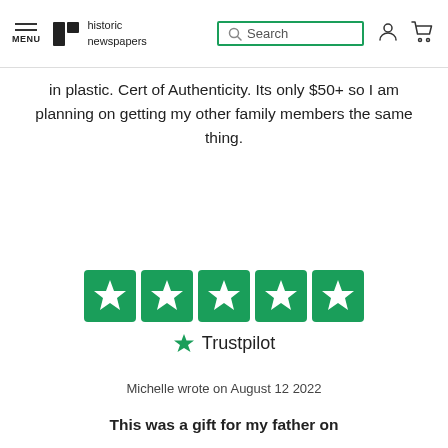MENU | historic newspapers | Search
in plastic. Cert of Authenticity. Its only $50+ so I am planning on getting my other family members the same thing.
[Figure (other): Five green Trustpilot star rating icons in a row, followed by a Trustpilot logo with star and text]
Michelle wrote on August 12 2022
This was a gift for my father on